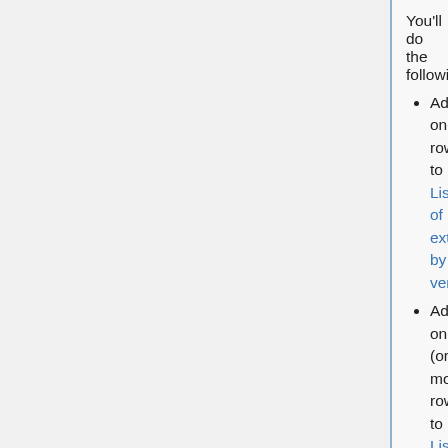You'll do the following:
Add one row to List of extensions by vendor
Add one (or more) rows to List of extensions by profile name
Create a new article titled yourvendorname yourproductname extensions and add links for articles in the next bullet. (e.g., Softimage XSI extensions).
Create one additional article for each COLLADA element that you extend, titled elementname yourproductname extension (e.g., camera XSI extension)
Add links for articles in the preceding bullet to List of extensions by element.
Detailed instructions:
In List of extensions by vendor, add a table row using this text (left-